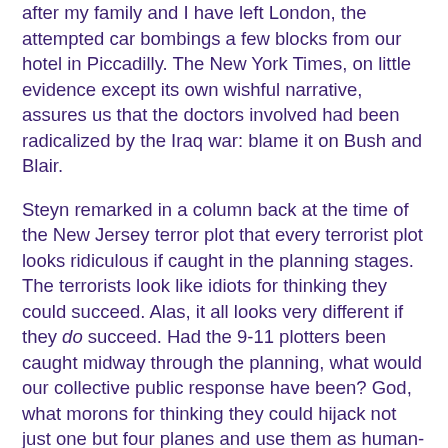after my family and I have left London, the attempted car bombings a few blocks from our hotel in Piccadilly. The New York Times, on little evidence except its own wishful narrative, assures us that the doctors involved had been radicalized by the Iraq war: blame it on Bush and Blair.
Steyn remarked in a column back at the time of the New Jersey terror plot that every terrorist plot looks ridiculous if caught in the planning stages. The terrorists look like idiots for thinking they could succeed. Alas, it all looks very different if they do succeed. Had the 9-11 plotters been caught midway through the planning, what would our collective public response have been? God, what morons for thinking they could hijack not just one but four planes and use them as human-filled missiles against the largest buildings in New York. In the event, who were the morons? The most frightening thing about the most recent UK events is how extraordinarily close even some fairly amateur terrorists got to succeeding - concrete barriers at the airport, and someone thankfully observant in Piccadilly. But they got nearly all the way to home plate and were stopped by the frailest of last-stage tactical defenses, not by any kind of